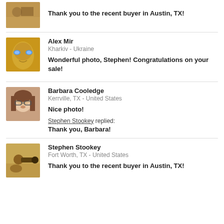[Figure (photo): Avatar thumbnail of photographer with camera in field]
Thank you to the recent buyer in Austin, TX!
[Figure (photo): Avatar of Alex Mir - golden face with blue eyes]
Alex Mir
Kharkiv - Ukraine
Wonderful photo, Stephen! Congratulations on your sale!
[Figure (photo): Avatar of Barbara Cooledge - woman with glasses]
Barbara Cooledge
Kerrville, TX - United States
Nice photo!
Stephen Stookey replied:
Thank you, Barbara!
[Figure (photo): Avatar of Stephen Stookey - photographer with camera in field]
Stephen Stookey
Fort Worth, TX - United States
Thank you to the recent buyer in Austin, TX!